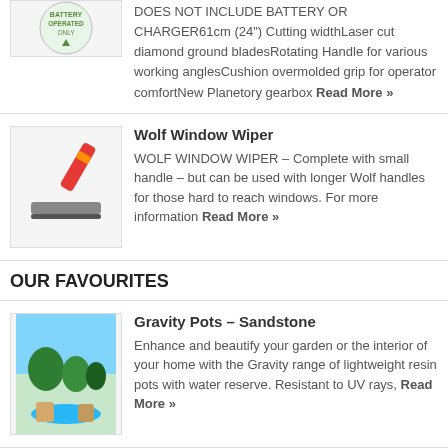DOES NOT INCLUDE BATTERY OR CHARGER61cm (24") Cutting widthLaser cut diamond ground bladesRotating Handle for various working anglesCushion overmolded grip for operator comfortNew Planetory gearbox Read More »
Wolf Window Wiper
WOLF WINDOW WIPER – Complete with small handle – but can be used with longer Wolf handles for those hard to reach windows. For more information Read More »
OUR FAVOURITES
Gravity Pots – Sandstone
Enhance and beautify your garden or the interior of your home with the Gravity range of lightweight resin pots with water reserve. Resistant to UV rays, Read More »
Hozelock 30m Maxi Plus / Starter Hose Set
30m of good quality general purpose braided hose. The hose has four layers, a smooth PVC inner layer to allow maximum flow, a thick PVC layer Read More »